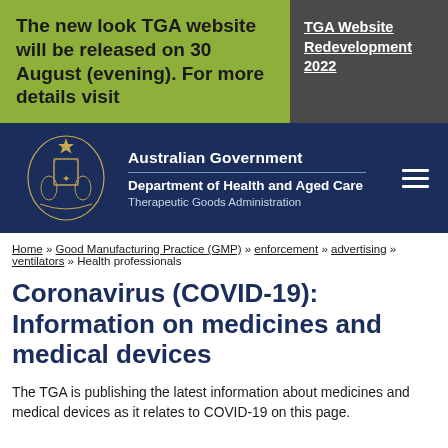The new look TGA website will be released on 30 August (evening). For more details visit
TGA Website Redevelopment 2022
[Figure (logo): Australian Government crest (coat of arms) and Department of Health and Aged Care / Therapeutic Goods Administration header bar]
Home » Good Manufacturing Practice (GMP) » enforcement » advertising » ventilators » Health professionals
Coronavirus (COVID-19): Information on medicines and medical devices
The TGA is publishing the latest information about medicines and medical devices as it relates to COVID-19 on this page.